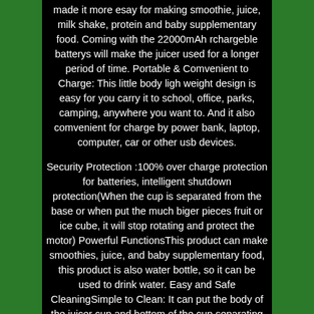made it more esay for making smoothie, juice, milk shake, protein and baby supplementary food. Coming with the 22000mAh rchargeble batterys will make the juicer used for a longer period of time. Portable & Comvenient to Charge: This little body ligh weight design is easy for you carry it to school, office, parks, camping, anywhere you want to. And it also comvenient for charge by power bank, laptop, computer, car or other usb devices.
Security Protection :100% over charge protection for batteries, intelligent shutdown protection(When the cup is separated from the base or when put the much biger pieces fruit or ice cube, it will stop rotating and protect the motor) Powerful FunctionsThis product can make smoothies, juice, and baby supplementary food, this product is also water bottle, so it can be used to drink water. Easy and Safe CleaningSimple to Clean: It can put the body of the juicer cup and bottom of the cup separating to